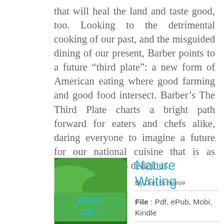that will heal the land and taste good, too. Looking to the detrimental cooking of our past, and the misguided dining of our present, Barber points to a future “third plate”: a new form of American eating where good farming and good food intersect. Barber’s The Third Plate charts a bright path forward for eaters and chefs alike, daring everyone to imagine a future for our national cuisine that is as sustainable as it is delicious.
Nature Writing
By Don Scheese
File : Pdf, ePub, Mobi, Kindle
[Figure (illustration): Book cover of Nature Writing showing green landscape fields from aerial view]